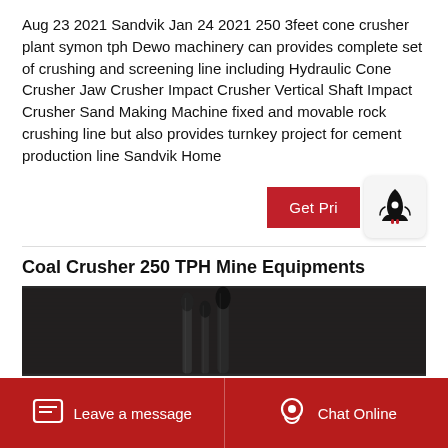Aug 23 2021 Sandvik Jan 24 2021 250 3feet cone crusher plant symon tph Dewo machinery can provides complete set of crushing and screening line including Hydraulic Cone Crusher Jaw Crusher Impact Crusher Vertical Shaft Impact Crusher Sand Making Machine fixed and movable rock crushing line but also provides turnkey project for cement production line Sandvik Home
[Figure (screenshot): Get Price button (red) with a rocket badge icon overlapping on the right]
Coal Crusher 250 TPH Mine Equipments
[Figure (photo): Dark industrial photo showing machinery/tools against a dark textured background]
Leave a message   Chat Online